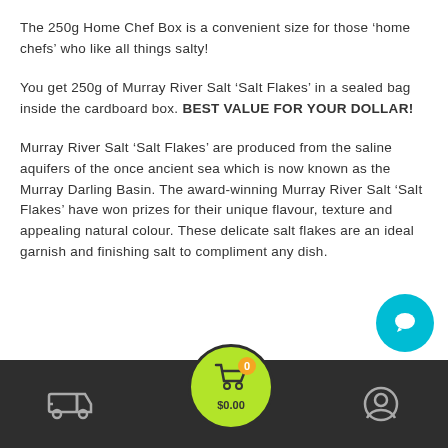The 250g Home Chef Box is a convenient size for those ‘home chefs’ who like all things salty!
You get 250g of Murray River Salt ‘Salt Flakes’ in a sealed bag inside the cardboard box. BEST VALUE FOR YOUR DOLLAR!
Murray River Salt ‘Salt Flakes’ are produced from the saline aquifers of the once ancient sea which is now known as the Murray Darling Basin. The award-winning Murray River Salt ‘Salt Flakes’ have won prizes for their unique flavour, texture and appealing natural colour. These delicate salt flakes are an ideal garnish and finishing salt to compliment any dish.
[Figure (screenshot): Mobile app bottom navigation bar with delivery truck icon on left, shopping cart with green circular background and $0.00 badge in center, person/account icon on right. Teal chat bubble button floating above right side.]